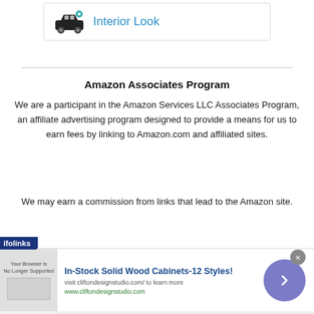[Figure (illustration): Car icon with gear/settings symbol and teal color accent, next to a teal hyperlink text 'Interior Look' inside a bordered card]
Amazon Associates Program
We are a participant in the Amazon Services LLC Associates Program, an affiliate advertising program designed to provide a means for us to earn fees by linking to Amazon.com and affiliated sites.
We may earn a commission from links that lead to the Amazon site.
[Figure (screenshot): Advertisement banner: 'In-Stock Solid Wood Cabinets-12 Styles!' with subtext 'visit cliftondesignstudio.com/ to learn more' and URL 'www.cliftondesignstudio.com', with a close button and arrow navigation button]